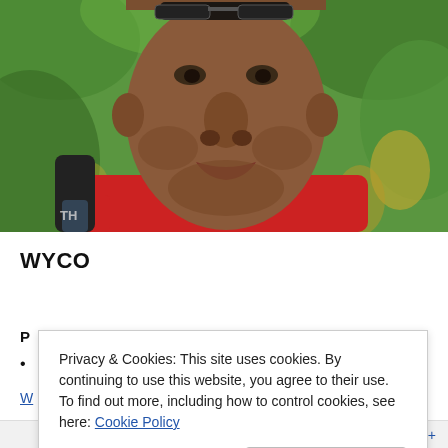[Figure (photo): Close-up photo of a man with short facial stubble wearing a red shirt and dark backpack strap, with green foliage background]
WYCO
P
•
W
Privacy & Cookies: This site uses cookies. By continuing to use this website, you agree to their use. To find out more, including how to control cookies, see here: Cookie Policy
Close and accept